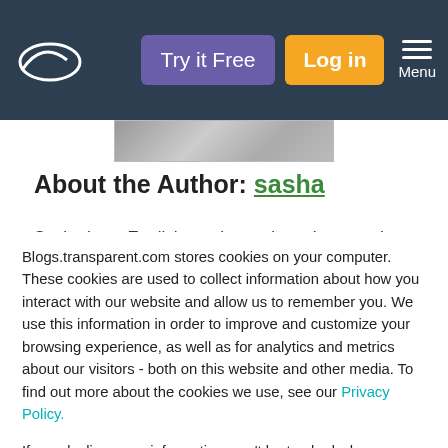Try it Free | Log in | Menu
[Figure (screenshot): Cropped image thumbnail at top of article]
About the Author: sasha
Sasha is an English teacher, writer, photographer
Blogs.transparent.com stores cookies on your computer. These cookies are used to collect information about how you interact with our website and allow us to remember you. We use this information in order to improve and customize your browsing experience, as well as for analytics and metrics about our visitors - both on this website and other media. To find out more about the cookies we use, see our Privacy Policy.
If you decline, your information won't be tracked when you visit this website. A single cookie will be used in your browser to remember your preference not to be tracked.
Accept | Decline